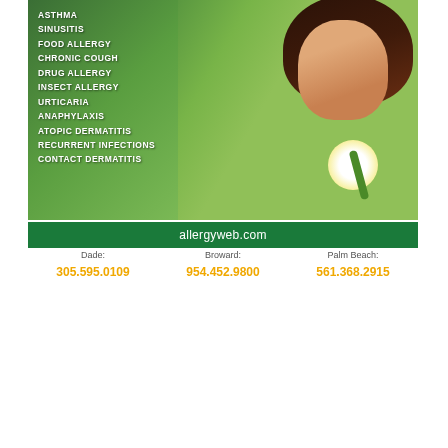[Figure (photo): Medical allergy advertisement showing a young girl smelling a white flower on a green background, with a list of conditions treated including Asthma, Sinusitis, Food Allergy, Chronic Cough, Drug Allergy, Insect Allergy, Urticaria, Anaphylaxis, Atopic Dermatitis, Recurrent Infections, Contact Dermatitis. Green bar with allergyweb.com and phone numbers for Dade: 305.595.0109, Broward: 954.452.9800, Palm Beach: 561.368.2915]
[Figure (photo): Political advertisement for Maureen Porras for City of Doral Council. Shows candidate photo. Lists: Public Interest Lawyer, Community Advocate.]